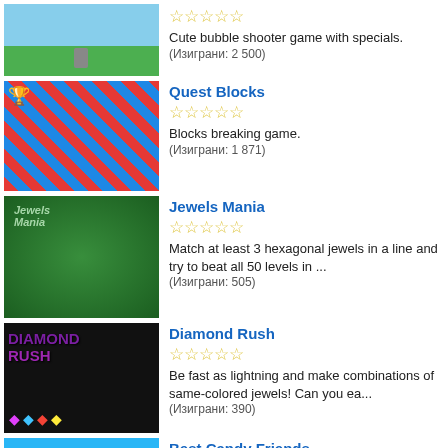Cute bubble shooter game with specials. (Изиграни: 2 500)
Quest Blocks
★★★★★
Blocks breaking game.
(Изиграни: 1 871)
Jewels Mania
★★★★★
Match at least 3 hexagonal jewels in a line and try to beat all 50 levels in ...
(Изиграни: 505)
Diamond Rush
★★★★★
Be fast as lightning and make combinations of same-colored jewels! Can you ea...
(Изиграни: 390)
Best Candy Friends
★★★★★
Best Candy Friends takes you into the world of delicious candy and challengin...
(Изиграни: 849)
Dragon: Fire & Fury
★★★★★
Play as a dragon and find the right strategy to defend your treasures against...